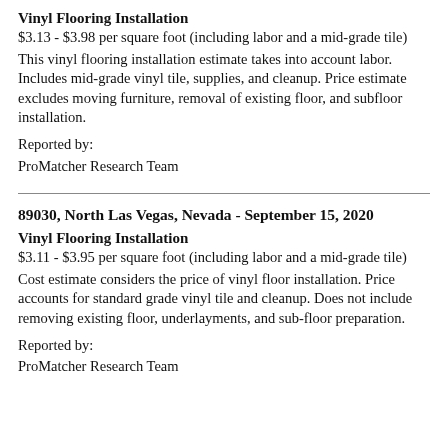Vinyl Flooring Installation
$3.13 - $3.98 per square foot (including labor and a mid-grade tile)
This vinyl flooring installation estimate takes into account labor. Includes mid-grade vinyl tile, supplies, and cleanup. Price estimate excludes moving furniture, removal of existing floor, and subfloor installation.
Reported by:
ProMatcher Research Team
89030, North Las Vegas, Nevada - September 15, 2020
Vinyl Flooring Installation
$3.11 - $3.95 per square foot (including labor and a mid-grade tile)
Cost estimate considers the price of vinyl floor installation. Price accounts for standard grade vinyl tile and cleanup. Does not include removing existing floor, underlayments, and sub-floor preparation.
Reported by:
ProMatcher Research Team